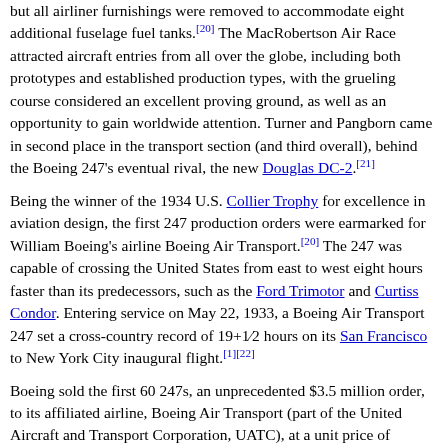but all airliner furnishings were removed to accommodate eight additional fuselage fuel tanks.[20] The MacRobertson Air Race attracted aircraft entries from all over the globe, including both prototypes and established production types, with the grueling course considered an excellent proving ground, as well as an opportunity to gain worldwide attention. Turner and Pangborn came in second place in the transport section (and third overall), behind the Boeing 247's eventual rival, the new Douglas DC-2.[21]
Being the winner of the 1934 U.S. Collier Trophy for excellence in aviation design, the first 247 production orders were earmarked for William Boeing's airline Boeing Air Transport.[20] The 247 was capable of crossing the United States from east to west eight hours faster than its predecessors, such as the Ford Trimotor and Curtiss Condor. Entering service on May 22, 1933, a Boeing Air Transport 247 set a cross-country record of 19+1/2 hours on its San Francisco to New York City inaugural flight.[1][22]
Boeing sold the first 60 247s, an unprecedented $3.5 million order, to its affiliated airline, Boeing Air Transport (part of the United Aircraft and Transport Corporation, UATC), at a unit price of $65,000.[5][8] TWA (Transcontinental & Western Air) also ordered the 247, but UATC declined the order, which resulted in TWA President Jack Frye setting out requirements for a new airliner and finding Douglas to design and build the Douglas DC-1.